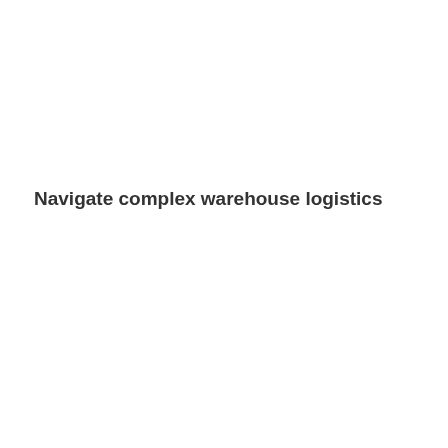Navigate complex warehouse logistics